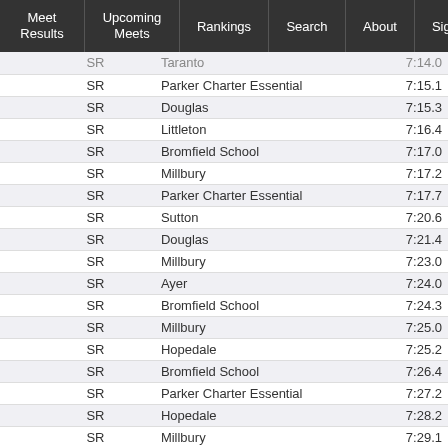Meet Results | Upcoming Meets | Rankings | Search | About | Sign Up | Log in / trouble
|  | Grade | School | Time |
| --- | --- | --- | --- |
|  | SR | Taranto | 7:14.0 |
|  | SR | Parker Charter Essential | 7:15.1 |
|  | SR | Douglas | 7:15.3 |
|  | SR | Littleton | 7:16.4 |
|  | SR | Bromfield School | 7:17.0 |
|  | SR | Millbury | 7:17.2 |
|  | SR | Parker Charter Essential | 7:17.7 |
|  | SR | Sutton | 7:20.6 |
|  | SR | Douglas | 7:21.4 |
|  | SR | Millbury | 7:23.0 |
|  | SR | Ayer | 7:24.0 |
|  | SR | Bromfield School | 7:24.3 |
|  | SR | Millbury | 7:25.0 |
|  | SR | Hopedale | 7:25.2 |
|  | SR | Bromfield School | 7:26.4 |
|  | SR | Parker Charter Essential | 7:27.2 |
|  | SR | Hopedale | 7:28.2 |
|  | SR | Millbury | 7:29.1 |
|  | SR | Hopedale | 7:30.6 |
|  | SR | Lunenburg | 7:30.9 |